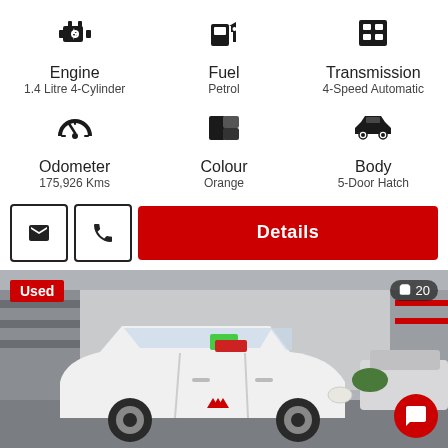[Figure (infographic): Car specs info panel with 6 items: Engine (1.4 Litre 4-Cylinder), Fuel (Petrol), Transmission (4-Speed Automatic), Odometer (175,926 Kms), Colour (Orange), Body (5-Door Hatch)]
Engine
1.4 Litre 4-Cylinder
Fuel
Petrol
Transmission
4-Speed Automatic
Odometer
175,926 Kms
Colour
Orange
Body
5-Door Hatch
[Figure (photo): White used hatchback car (Mitsubishi Mirage) at a dealership lot. Badge 'Used' in red top-left, photo count '20' top-right, red chat button bottom-right.]